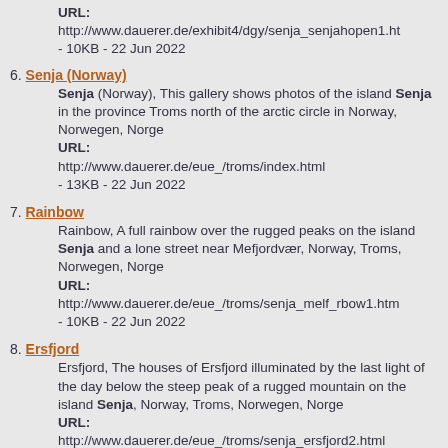URL: http://www.dauerer.de/exhibit4/dgy/senja_senjahopen1.ht - 10KB - 22 Jun 2022
6. Senja (Norway) — Senja (Norway), This gallery shows photos of the island Senja in the province Troms north of the arctic circle in Norway, Norwegen, Norge URL: http://www.dauerer.de/eue_/troms/index.html - 13KB - 22 Jun 2022
7. Rainbow — Rainbow, A full rainbow over the rugged peaks on the island Senja and a lone street near Mefjordvær, Norway, Troms, Norwegen, Norge URL: http://www.dauerer.de/eue_/troms/senja_melf_rbow1.htm - 10KB - 22 Jun 2022
8. Ersfjord — Ersfjord, The houses of Ersfjord illuminated by the last light of the day below the steep peak of a rugged mountain on the island Senja, Norway, Troms, Norwegen, Norge URL: http://www.dauerer.de/eue_/troms/senja_ersfjord2.html - 10KB - 22 Jun 2022